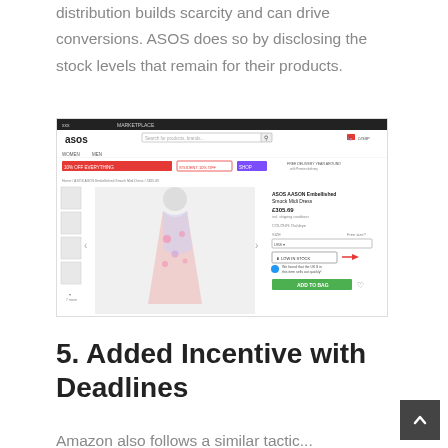distribution builds scarcity and can drive conversions. ASOS does so by disclosing the stock levels that remain for their products.
[Figure (screenshot): Screenshot of ASOS product page showing a dress listing with a 'LOW IN STOCK' button highlighted with a red arrow, and an 'ADD TO BAG' button. The page shows the ASOS logo, navigation bar, promotional banners, product thumbnail images on the left, main product photo of a floral midi dress, and product details including price and size selector on the right.]
5. Added Incentive with Deadlines
Amazon also follows a similar tactic...